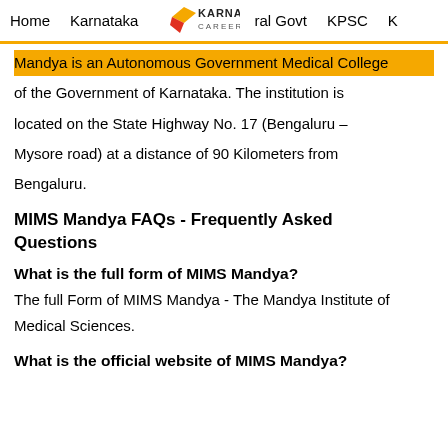Home   Karnataka   [Karnataka Careers logo]   ral Govt   KPSC   K
Mandya is an Autonomous Government Medical College of the Government of Karnataka. The institution is located on the State Highway No. 17 (Bengaluru – Mysore road) at a distance of 90 Kilometers from Bengaluru.
MIMS Mandya FAQs - Frequently Asked Questions
What is the full form of MIMS Mandya?
The full Form of MIMS Mandya - The Mandya Institute of Medical Sciences.
What is the official website of MIMS Mandya?